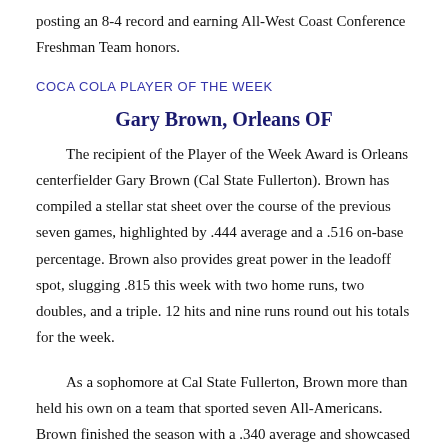posting an 8-4 record and earning All-West Coast Conference Freshman Team honors.
COCA COLA PLAYER OF THE WEEK
Gary Brown, Orleans OF
The recipient of the Player of the Week Award is Orleans centerfielder Gary Brown (Cal State Fullerton). Brown has compiled a stellar stat sheet over the course of the previous seven games, highlighted by .444 average and a .516 on-base percentage. Brown also provides great power in the leadoff spot, slugging .815 this week with two home runs, two doubles, and a triple. 12 hits and nine runs round out his totals for the week.
As a sophomore at Cal State Fullerton, Brown more than held his own on a team that sported seven All-Americans. Brown finished the season with a .340 average and showcased his speed by leading the team with seven triples and 23 steals. Like Blair, Brown made a name